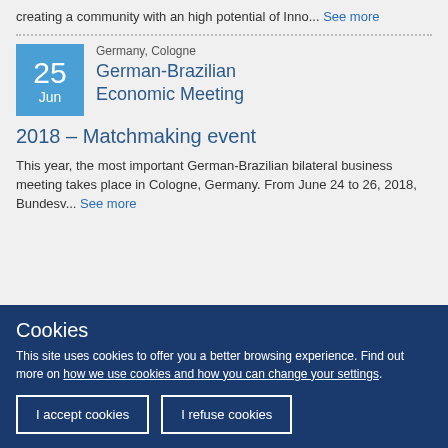creating a community with an high potential of Inno... See more
German-Brazilian Economic Meeting 2018 – Matchmaking event
Germany, Cologne
This year, the most important German-Brazilian bilateral business meeting takes place in Cologne, Germany. From June 24 to 26, 2018, Bundesv... See more
Cookies
This site uses cookies to offer you a better browsing experience. Find out more on how we use cookies and how you can change your settings.